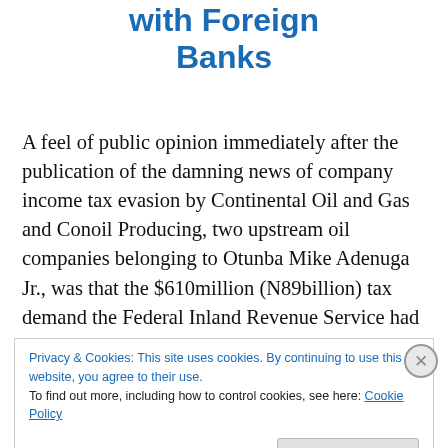with Foreign Banks
A feel of public opinion immediately after the publication of the damning news of company income tax evasion by Continental Oil and Gas and Conoil Producing, two upstream oil companies belonging to Otunba Mike Adenuga Jr., was that the $610million (N89billion) tax demand the Federal Inland Revenue Service had made on the companies would not stir Adenuga's considerable
Privacy & Cookies: This site uses cookies. By continuing to use this website, you agree to their use.
To find out more, including how to control cookies, see here: Cookie Policy